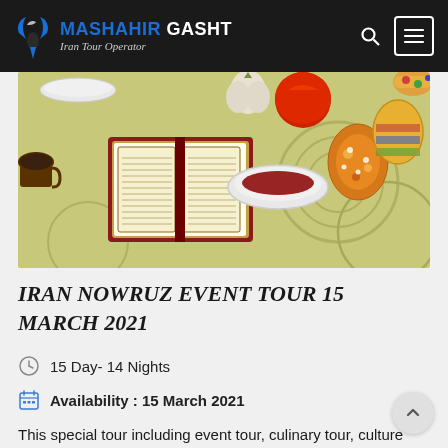MASHAHIR GASHT Iran Tour Operator
[Figure (photo): Nowruz Haft-Sin table spread with an open Quran book, red apple, garlic, decorated Easter-style eggs, a bowl of sumac/pomegranate seeds, and other traditional items on a decorative tablecloth.]
IRAN NOWRUZ EVENT TOUR 15 MARCH 2021
15 Day- 14 Nights
Availability : 15 March 2021
This special tour including event tour, culinary tour, culture and nature tour. join [...]